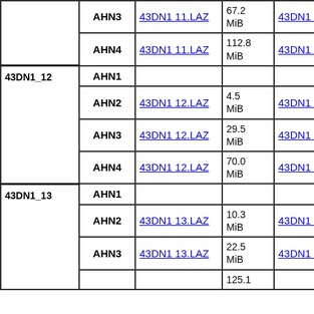| Tile | AHN | LAZ file | LAZ size | LAX file | LAX size |  |
| --- | --- | --- | --- | --- | --- | --- |
|  | AHN3 | 43DN1_11.LAZ | 67.2 MiB | 43DN1_11.LAX | 53 kiB |  |
|  | AHN4 | 43DN1_11.LAZ | 112.8 MiB | 43DN1_11.LAX | 59 kiB |  |
| 43DN1_12 | AHN1 |  |  |  |  |  |
|  | AHN2 | 43DN1_12.LAZ | 4.5 MiB | 43DN1_12.LAX | 6 kiB |  |
|  | AHN3 | 43DN1_12.LAZ | 29.5 MiB | 43DN1_12.LAX | 11 kiB |  |
|  | AHN4 | 43DN1_12.LAZ | 70.0 MiB | 43DN1_12.LAX | 44 kiB |  |
| 43DN1_13 | AHN1 |  |  |  |  |  |
|  | AHN2 | 43DN1_13.LAZ | 10.3 MiB | 43DN1_13.LAX | 11 kiB |  |
|  | AHN3 | 43DN1_13.LAZ | 22.5 MiB | 43DN1_13.LAX | 38 kiB |  |
|  | AHN4 |  | 125.1 |  | 55 |  |